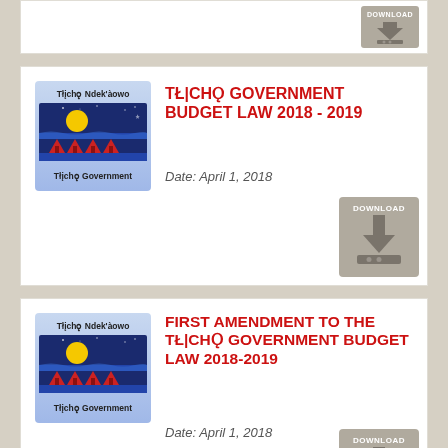[Figure (other): Partial download card at top of page with download button]
TŁĮCHǪ GOVERNMENT BUDGET LAW 2018 - 2019
Date: April 1, 2018
[Figure (logo): Tłįchǫ Government logo showing Tłįchǫ Ndek'àowo text, night landscape with yellow moon, blue bands and red figures, Tłįchǫ Government text]
[Figure (other): Download button for Budget Law 2018-2019]
FIRST AMENDMENT TO THE TŁĮCHǪ GOVERNMENT BUDGET LAW 2018-2019
Date: April 1, 2018
[Figure (logo): Tłįchǫ Government logo showing Tłįchǫ Ndek'àowo text, night landscape with yellow moon, blue bands and red figures, Tłįchǫ Government text]
[Figure (other): Download button for First Amendment to Budget Law 2018-2019]